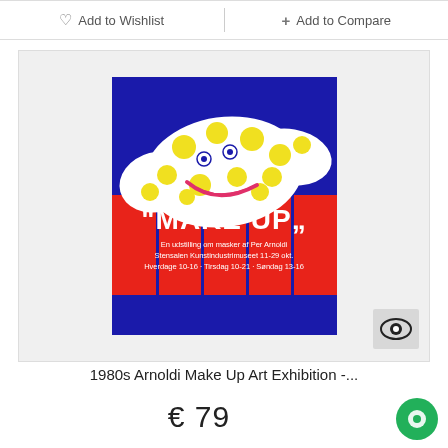♡ Add to Wishlist
+ Add to Compare
[Figure (photo): Photograph of a vintage 1980s Danish art exhibition poster for 'Make Up' by Per Arnoldi. The poster shows a cartoonish white face/mask with yellow polka dots smiling, on a blue background with red vertical bars. Text reads: "MAKE UP" En udstilling om masker af Per Arnoldi / Stensalen Kunstindustrimuseet 11-29 okt. / Hverdage 10-16 · Tirsdag 10-21 · Søndag 13-16]
1980s Arnoldi Make Up Art Exhibition -...
€ 79